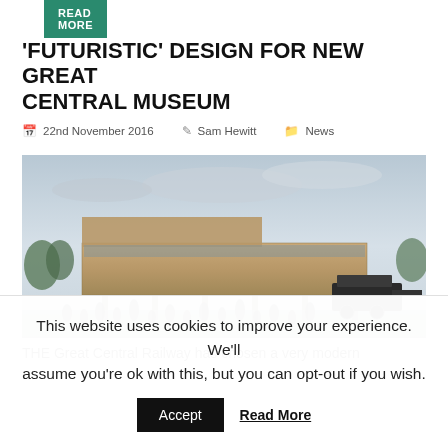READ MORE
'FUTURISTIC' DESIGN FOR NEW GREAT CENTRAL MUSEUM
22nd November 2016   Sam Hewitt   News
[Figure (illustration): Architectural rendering of the proposed Great Central Museum building — a modern elevated wooden/stone structure with glass facade, with a crowd of people and a steam locomotive in the foreground.]
THE Great Central Railway has chosen a very modern
This website uses cookies to improve your experience. We'll assume you're ok with this, but you can opt-out if you wish.
Accept   Read More